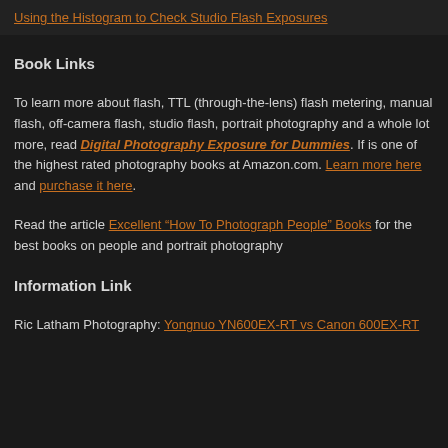Using the Histogram to Check Studio Flash Exposures
Book Links
To learn more about flash, TTL (through-the-lens) flash metering, manual flash, off-camera flash, studio flash, portrait photography and a whole lot more, read Digital Photography Exposure for Dummies. If is one of the highest rated photography books at Amazon.com. Learn more here and purchase it here.
Read the article Excellent “How To Photograph People” Books for the best books on people and portrait photography
Information Link
Ric Latham Photography: Yongnuo YN600EX-RT vs Canon 600EX-RT